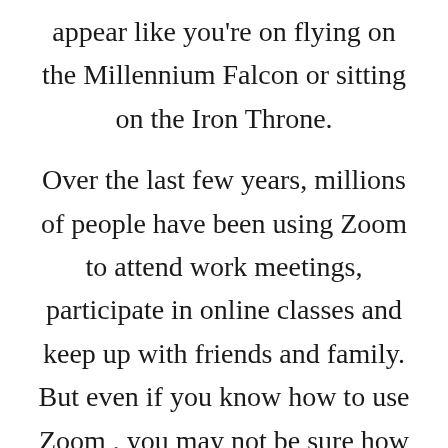appear like you're on flying on the Millennium Falcon or sitting on the Iron Throne.

Over the last few years, millions of people have been using Zoom to attend work meetings, participate in online classes and keep up with friends and family. But even if you know how to use Zoom , you may not be sure how to change your Zoom background. Many people have discovered and enjoyed using the setting that allows you to add a